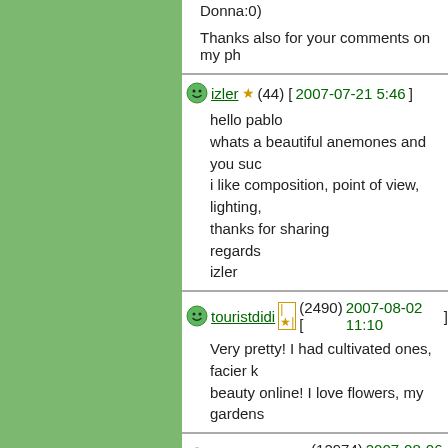Donna:0)
Thanks also for your comments on my ph
izler ★ (44) [2007-07-21 5:46]
hello pablo
whats a beautiful anemones and you suc
i like composition, point of view, lighting,
thanks for sharing
regards
izler
touristdidi |★| (2490) [2007-08-02 11:10]
Very pretty! I had cultivated ones, facier k beauty online! I love flowers, my gardens
pierrefonds (12974) [2007-08-06 4:54
Hi Panlo,

A nice image of the white flowers and of t sharpness and nice colors. thanks for sha

Pierre
mikou (6093) [2007-08-06 9:02]